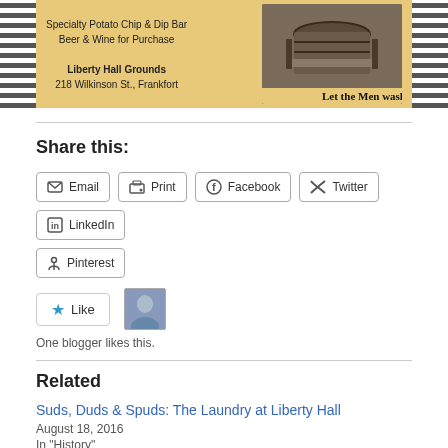[Figure (illustration): Banner image for event at Liberty Hall Grounds. Text reads: Specialty Potato Chip & Dip Bar, Beer & Wine for Purchase, Liberty Hall Grounds, 218 Wilkinson St., Frankfort. Right side shows barrel/wash tub image with text 'Let the Men wash'. Decorative stripes on left and right edges.]
Share this:
Email
Print
Facebook
Twitter
LinkedIn
Pinterest
One blogger likes this.
Related
Suds, Duds & Spuds: The Laundry at Liberty Hall
August 18, 2016
In "History"
Join us for Suds, Duds & Spuds at Liberty Hall After Hours